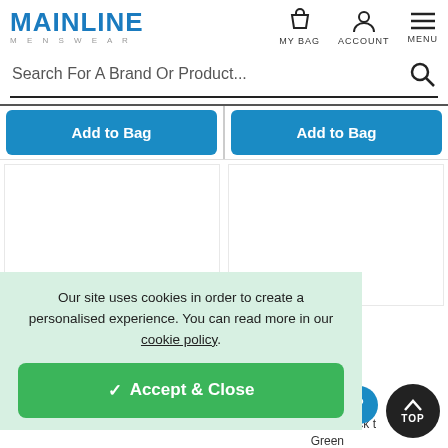MAINLINE MENSWEAR — MY BAG | ACCOUNT | MENU
Search For A Brand Or Product...
Add to Bag
Add to Bag
Our site uses cookies in order to create a personalised experience. You can read more in our cookie policy.
✓ Accept & Close
ee Delivery
Crew Neck t Green